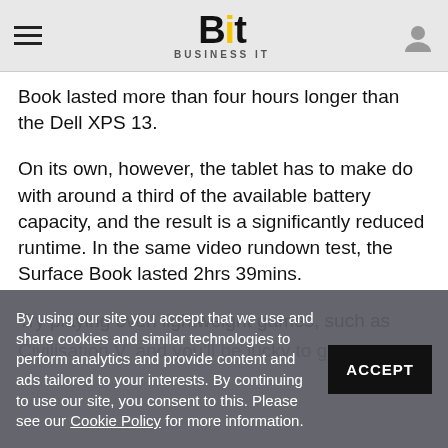Bit BUSINESS IT
Book lasted more than four hours longer than the Dell XPS 13.
On its own, however, the tablet has to make do with around a third of the available battery capacity, and the result is a significantly reduced runtime. In the same video rundown test, the Surface Book lasted 2hrs 39mins.
Try playing even lightweight games, such as Civilisation V, and you’ll be lucky to get any… [text obscured by overlay]
By using our site you accept that we use and share cookies and similar technologies to perform analytics and provide content and ads tailored to your interests. By continuing to use our site, you consent to this. Please see our Cookie Policy for more information.